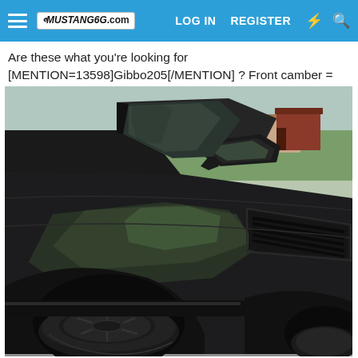MUSTANG6G.com | LOG IN | REGISTER
Are these what you're looking for [MENTION=13598]Gibbo205[/MENTION] ? Front camber = -1.7, rear = -1.5.
[Figure (photo): Close-up side view of a dark/black Ford Mustang showing the front quarter panel, side fender vent, side mirror, and front wheel with a large black rim, parked on a gray asphalt road with green trees and a building in the background.]